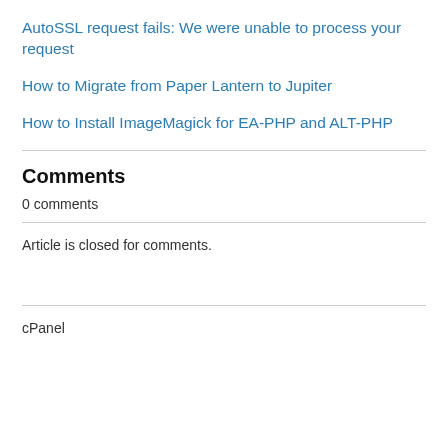AutoSSL request fails: We were unable to process your request
How to Migrate from Paper Lantern to Jupiter
How to Install ImageMagick for EA-PHP and ALT-PHP
Comments
0 comments
Article is closed for comments.
cPanel